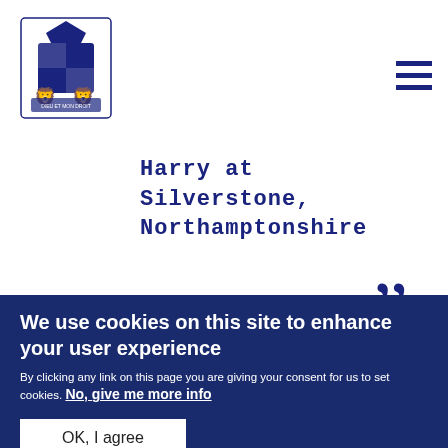[Figure (logo): Royal coat of arms logo in dark blue/navy]
Harry at Silverstone, Northamptonshire
[Figure (photo): Photo of person in red and black clothing in front of large Union Jack flags and Union Jack bunting]
We use cookies on this site to enhance your user experience
By clicking any link on this page you are giving your consent for us to set cookies. No, give me more info
OK, I agree